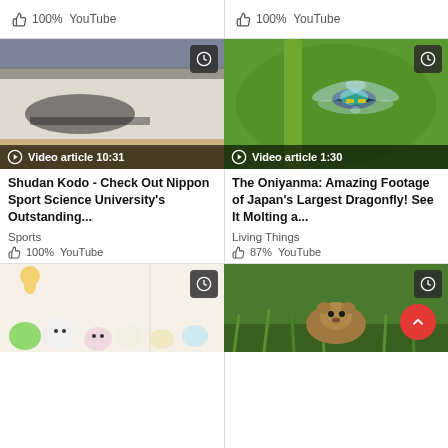👍 100%   YouTube
👍 100%   YouTube
[Figure (screenshot): Thumbnail of marching band/mass performance at large stadium. Video article 10:31]
Shudan Kodo - Check Out Nippon Sport Science University's Outstanding...
Sports
👍 100%   YouTube
[Figure (screenshot): Thumbnail of dragonfly (Oniyanma) on green plant stem, close-up. Video article 1:30]
The Oniyanma: Amazing Footage of Japan's Largest Dragonfly! See It Molting a...
Living Things
👍 87%   YouTube
[Figure (screenshot): Thumbnail of cartoon sumikko gurashi characters (partial, bottom row)]
[Figure (screenshot): Thumbnail of small rodent/vole on grass (partial, bottom row)]